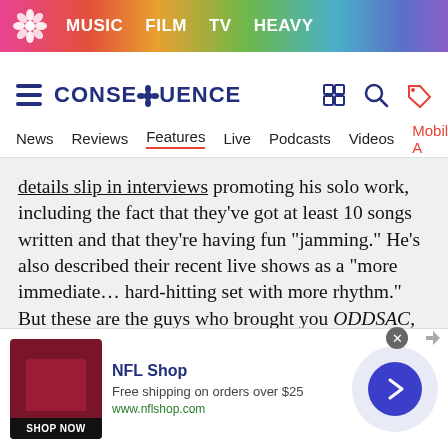MUSIC  FILM  TV  HEAVY
CONSEQUENCE
News  Reviews  Features  Live  Podcasts  Videos  Mobile A
details slip in interviews promoting his solo work, including the fact that they've got at least 10 songs written and that they're having fun “jamming.” He’s also described their recent live shows as a “more immediate… hard-hitting set with more rhythm.” But these are the guys who brought you ODDSAC, so you never quite know what’s coming next.
[Figure (other): NFL Shop advertisement banner with product image, shop now button, and arrow navigation]